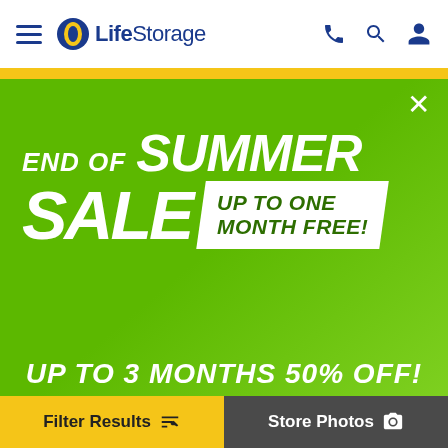Life Storage — navigation header with hamburger menu, logo, phone, search, and account icons
[Figure (screenshot): Life Storage website screenshot showing End of Summer Sale promotional banner on green background with text: END OF SUMMER SALE UP TO ONE MONTH FREE!, and partial text UP TO 3 MONTHS 50% OFF!, with Filter Results and Store Photos buttons at bottom]
END OF SUMMER SALE UP TO ONE MONTH FREE!
UP TO 3 MONTHS 50% OFF!
Filter Results
Store Photos